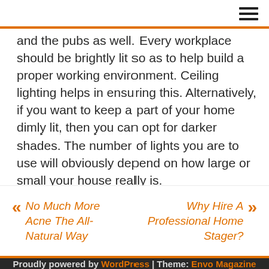and the pubs as well. Every workplace should be brightly lit so as to help build a proper working environment. Ceiling lighting helps in ensuring this. Alternatively, if you want to keep a part of your home dimly lit, then you can opt for darker shades. The number of lights you are to use will obviously depend on how large or small your house really is.
« No Much More Acne The All-Natural Way
Why Hire A Professional Home Stager? »
Proudly powered by WordPress | Theme: Envo Magazine